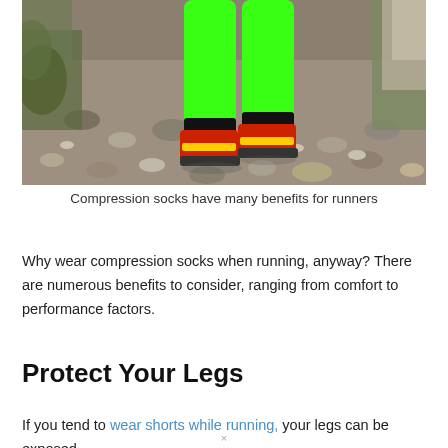[Figure (photo): Photo of a runner's legs from behind, wearing bright neon green compression socks/leggings and red/yellow trail running shoes, walking on a rocky gravel trail path.]
Compression socks have many benefits for runners
Why wear compression socks when running, anyway? There are numerous benefits to consider, ranging from comfort to performance factors.
Protect Your Legs
If you tend to wear shorts while running, your legs can be exposed
×